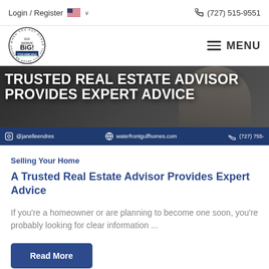Login / Register   🇺🇸 ∨   (727) 515-9551
[Figure (logo): Go Serve Big! circular logo with text 'YOUR HOME SOLD GUARANTEED REALTY']
MENU
[Figure (photo): Hero banner image showing 'TRUSTED REAL ESTATE ADVISOR PROVIDES EXPERT ADVICE' text overlay on dark background with person in background. Bottom bar shows: @janelleendres | waterfrontgulfhomes.com | (727) 755-...]
Selling Your Home
A Trusted Real Estate Advisor Provides Expert Advice
If you're a homeowner or are planning to become one soon, you're probably looking for clear information ...
Read More